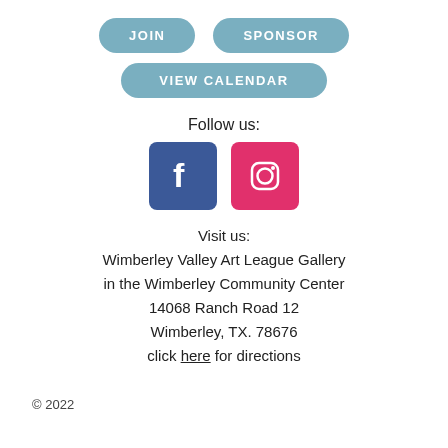[Figure (infographic): Two pill-shaped buttons labeled JOIN and SPONSOR, and a wider pill-shaped button labeled VIEW CALENDAR, all with a muted blue/teal background and white text.]
Follow us:
[Figure (infographic): Facebook icon (blue rounded square with white F) and Instagram icon (pink/magenta rounded square with camera outline).]
Visit us:
Wimberley Valley Art League Gallery
in the Wimberley Community Center
14068 Ranch Road 12
Wimberley, TX. 78676
click here for directions
© 2022